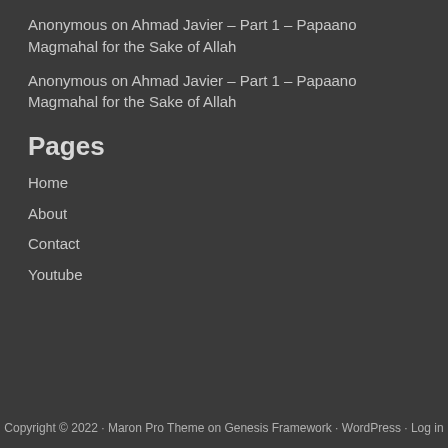Anonymous on Ahmad Javier – Part 1 – Papaano Magmahal for the Sake of Allah
Anonymous on Ahmad Javier – Part 1 – Papaano Magmahal for the Sake of Allah
Pages
Home
About
Contact
Youtube
Copyright © 2022 · Maron Pro Theme on Genesis Framework · WordPress · Log in